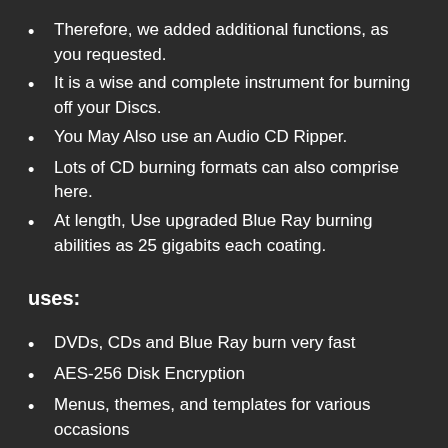Therefore, we added additional functions, as you requested.
It is a wise and complete instrument for burning off your Discs.
You May Also use an Audio CD Ripper.
Lots of CD burning formats can also comprise here.
At length, Use upgraded Blue Ray burning abilities as 25 gigabits each coating.
uses:
DVDs, CDs and Blue Ray burn very fast
AES-256 Disk Encryption
Menus, themes, and templates for various occasions
Back up data from mobile devices (cell phones, laptops, etc.)